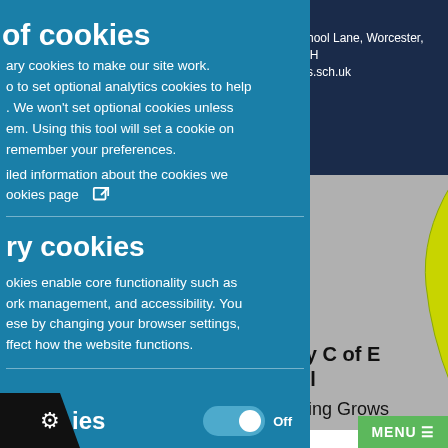of cookies
ary cookies to make our site work. o to set optional analytics cookies to help . We won't set optional cookies unless em. Using this tool will set a cookie on remember your preferences.
iled information about the cookies we ookies page ⧉
ry cookies
okies enable core functionality such as ork management, and accessibility. You ese by changing your browser settings, ffect how the website functions.
chool Lane, Worcester, NH
cs.sch.uk
[Figure (screenshot): School website screenshot showing partial school name 'ry C of E ol' and tagline 'ning Grows' on gray background with partial yellow-green logo, dark navy header with address, and green MENU button]
ies
Off